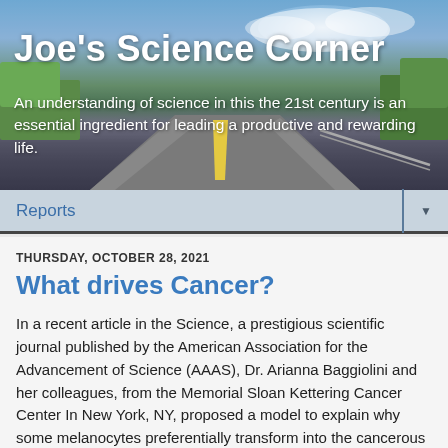[Figure (photo): Banner image showing a road stretching into the distance under a blue sky with clouds and green trees on the sides, used as the header background for 'Joe's Science Corner' blog.]
Joe's Science Corner
An understanding of science in this the 21st century is an essential ingredient for leading a productive and rewarding life.
Reports
THURSDAY, OCTOBER 28, 2021
What drives Cancer?
In a recent article in the Science, a prestigious scientific journal published by the American Association for the Advancement of Science (AAAS), Dr. Arianna Baggiolini and her colleagues, from the Memorial Sloan Kettering Cancer Center In New York, NY, proposed a model to explain why some melanocytes preferentially transform into the cancerous state while other melanocytes do not.